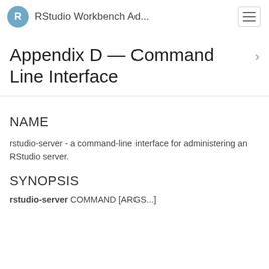RStudio Workbench Ad...
Appendix D — Command Line Interface
NAME
rstudio-server - a command-line interface for administering an RStudio server.
SYNOPSIS
rstudio-server COMMAND [ARGS...]